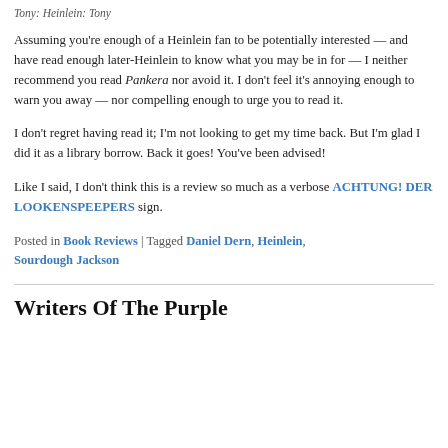Tony: Heinlein: Tony
Assuming you're enough of a Heinlein fan to be potentially interested — and have read enough later-Heinlein to know what you may be in for — I neither recommend you read Pankera nor avoid it. I don't feel it's annoying enough to warn you away — nor compelling enough to urge you to read it.
I don't regret having read it; I'm not looking to get my time back. But I'm glad I did it as a library borrow. Back it goes! You've been advised!
Like I said, I don't think this is a review so much as a verbose ACHTUNG! DER LOOKENSPEEPERS sign.
Posted in Book Reviews | Tagged Daniel Dern, Heinlein, Sourdough Jackson
Writers Of The Purple